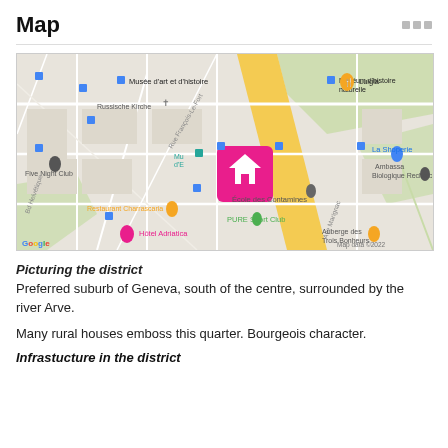Map
[Figure (map): Google Maps view of a Geneva district showing landmarks such as Musée d'art et d'histoire, Russische Kirche, Muséum d'histoire naturelle, Five Night Club, PURE Sport Club, Restaurant Charrascaria, Luigia, La Shoperie, Hôtel Adriatica, Auberge des Trois Bonheurs, Ambassade Biologique Recherche, École des Contamines. A pink house marker is shown at the center. Map data ©2022.]
Picturing the district
Preferred suburb of Geneva, south of the centre, surrounded by the river Arve.

Many rural houses emboss this quarter. Bourgeois character.
Infrastucture in the district